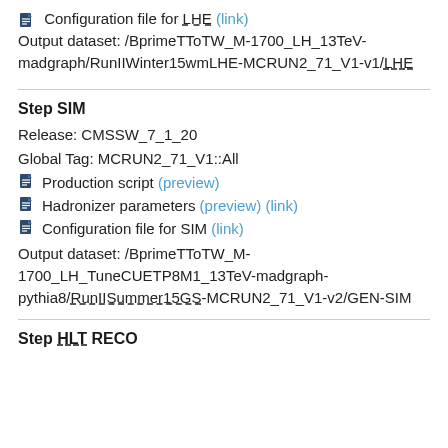Configuration file for LHE (link)
Output dataset: /BprimeTToTW_M-1700_LH_13TeV-madgraph/RunIIWinter15wmLHE-MCRUN2_71_V1-v1/LHE
Step SIM
Release: CMSSW_7_1_20
Global Tag: MCRUN2_71_V1::All
Production script (preview)
Hadronizer parameters (preview) (link)
Configuration file for SIM (link)
Output dataset: /BprimeTToTW_M-1700_LH_TuneCUETP8M1_13TeV-madgraph-pythia8/RunIISummer15GS-MCRUN2_71_V1-v2/GEN-SIM
Step HLT RECO